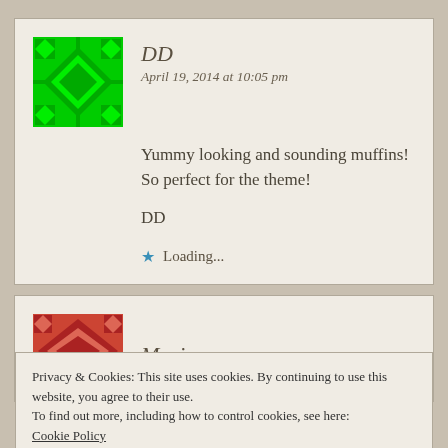[Figure (illustration): Green geometric quilt-pattern avatar icon for user DD]
DD
April 19, 2014 at 10:05 pm
Yummy looking and sounding muffins! So perfect for the theme!

DD
Loading...
[Figure (illustration): Red/salmon geometric quilt-pattern avatar icon for user Maria]
Maria
Privacy & Cookies: This site uses cookies. By continuing to use this website, you agree to their use.
To find out more, including how to control cookies, see here:
Cookie Policy
Close and accept